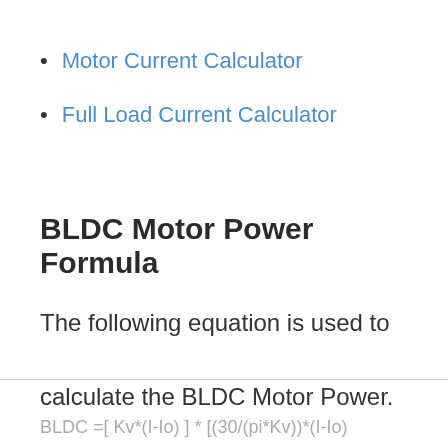Motor Current Calculator
Full Load Current Calculator
BLDC Motor Power Formula
The following equation is used to calculate the BLDC Motor Power.